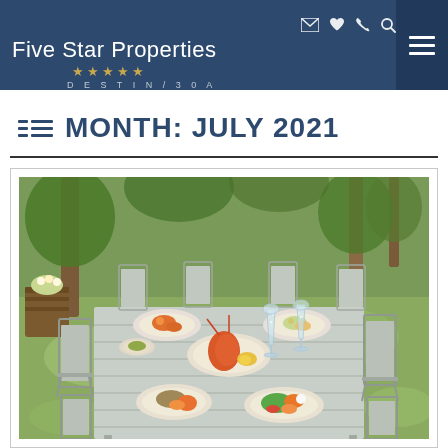Five Star Properties DESTIN/30A — navigation header with icons
MONTH: JULY 2021
[Figure (photo): Outdoor restaurant dining table set with multiple plated dishes and champagne glasses, surrounded by grey metal chairs, with trees and greenery in the background.]